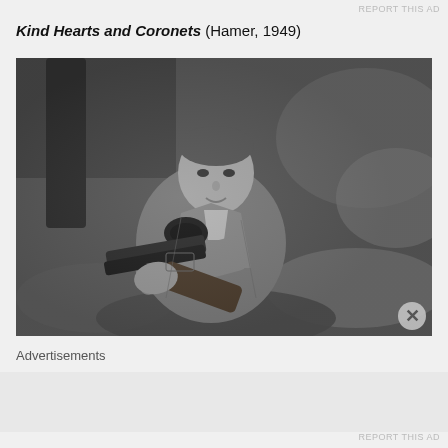REPORT THIS AD
Kind Hearts and Coronets (Hamer, 1949)
[Figure (photo): Black and white still from the 1949 film 'Kind Hearts and Coronets'. A man in a tweed jacket holds a double-barreled shotgun pointed toward the camera, set against a woodland background with ferns and trees.]
Advertisements
REPORT THIS AD